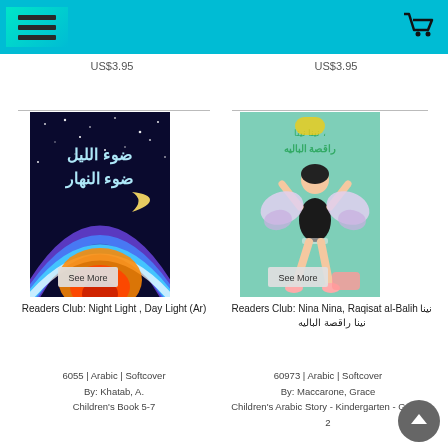Navigation bar with hamburger menu and cart icon
US$3.95
US$3.95
[Figure (illustration): Book cover: Readers Club Night Light Day Light (Ar) - dark night sky with Arabic text and colorful rainbow/sun illustration]
Readers Club: Night Light , Day Light (Ar)
6055 | Arabic | Softcover
By: Khatab, A.
Children's Book 5-7
[Figure (illustration): Book cover: Readers Club Nina Nina Raqisat al-Balih - girl dancing ballet with butterfly wings on teal background]
Readers Club: Nina Nina, Raqisat al-Balih نينا نينا راقصة الباليه
60973 | Arabic | Softcover
By: Maccarone, Grace
Children's Arabic Story - Kindergarten - Grade 2